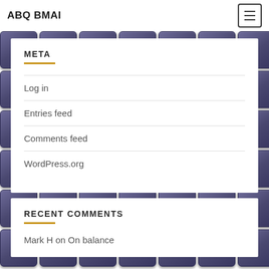ABQ BMAI
META
Log in
Entries feed
Comments feed
WordPress.org
RECENT COMMENTS
Mark H on On balance